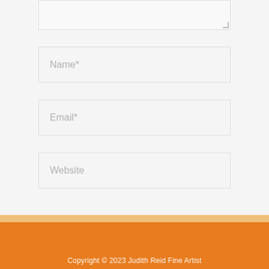[Figure (screenshot): Partial textarea input field at top of page]
Name*
Email*
Website
Post Comment »
Copyright © 2023 Judith Reid Fine Artist